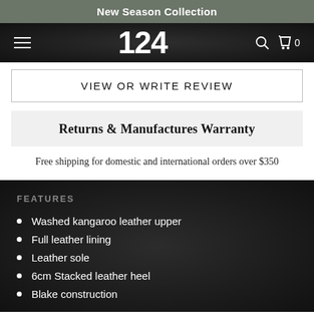New Season Collection
124
VIEW OR WRITE REVIEW
Returns & Manufactures Warranty
Free shipping for domestic and international orders over $350
FEATURES
Washed kangaroo leather upper
Full leather lining
Leather sole
6cm Stacked leather heel
Blake construction